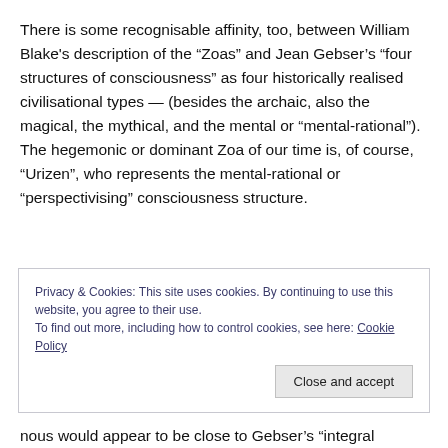There is some recognisable affinity, too, between William Blake's description of the “Zoas” and Jean Gebser’s “four structures of consciousness” as four historically realised civilisational types — (besides the archaic, also the magical, the mythical, and the mental or “mental-rational”). The hegemonic or dominant Zoa of our time is, of course, “Urizen”, who represents the mental-rational or “perspectivising” consciousness structure.
Privacy & Cookies: This site uses cookies. By continuing to use this website, you agree to their use. To find out more, including how to control cookies, see here: Cookie Policy
nous would appear to be close to Gebser’s “integral